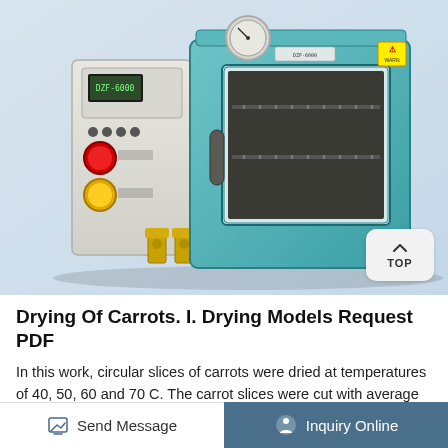[Figure (photo): A teal/blue vacuum drying oven with a glass window showing internal wire racks. The left side has a white control panel with a digital display, red and yellow buttons, and yellow brass fittings at the bottom. A pressure gauge is visible on top. A warning label is in the top right. A 'TOP' navigation button overlay is in the bottom right corner.]
Drying Of Carrots. I. Drying Models Request PDF
In this work, circular slices of carrots were dried at temperatures of 40, 50, 60 and 70 C. The carrot slices were cut with average thickness of 4.5 mm. A numerical solution was proposed for the
Send Message   Inquiry Online